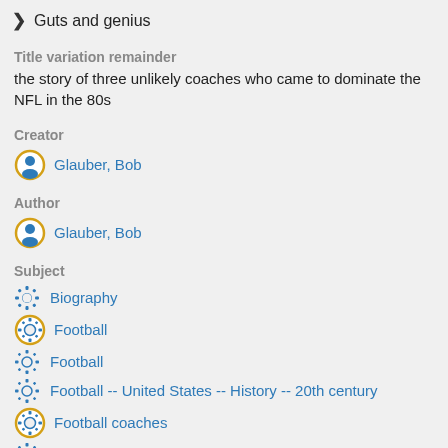Guts and genius
Title variation remainder
the story of three unlikely coaches who came to dominate the NFL in the 80s
Creator
Glauber, Bob
Author
Glauber, Bob
Subject
Biography
Football
Football
Football -- United States -- History -- 20th century
Football coaches
Football coaches
Football coaches -- United States -- Biography